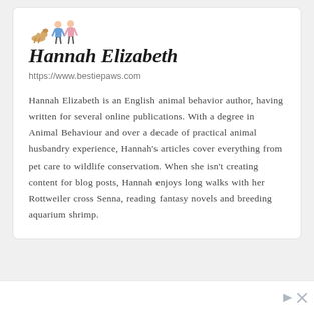[Figure (illustration): Small illustrated avatar showing people and a pet, used as author profile image]
Hannah Elizabeth
https://www.bestiepaws.com
Hannah Elizabeth is an English animal behavior author, having written for several online publications. With a degree in Animal Behaviour and over a decade of practical animal husbandry experience, Hannah's articles cover everything from pet care to wildlife conservation. When she isn't creating content for blog posts, Hannah enjoys long walks with her Rottweiler cross Senna, reading fantasy novels and breeding aquarium shrimp.